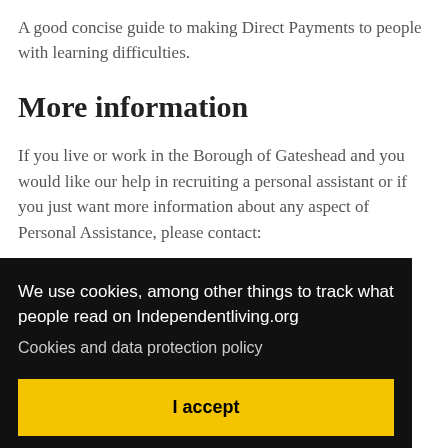A good concise guide to making Direct Payments to people with learning difficulties.
More information
If you live or work in the Borough of Gateshead and you would like our help in recruiting a personal assistant or if you just want more information about any aspect of Personal Assistance, please contact:
We use cookies, among other things to track what people read on Independentliving.org
Cookies and data protection policy
I accept
(0191) 478 4082 (minicom)